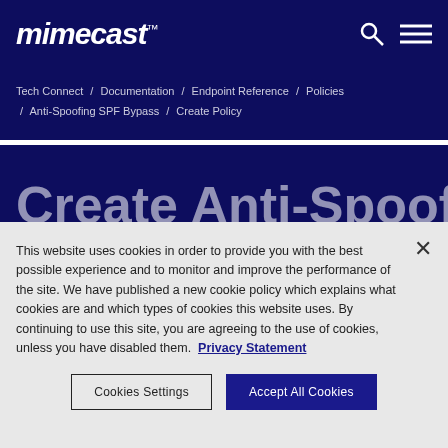mimecast
Tech Connect / Documentation / Endpoint Reference / Policies / Anti-Spoofing SPF Bypass / Create Policy
Create Anti-Spoofing...
This website uses cookies in order to provide you with the best possible experience and to monitor and improve the performance of the site. We have published a new cookie policy which explains what cookies are and which types of cookies this website uses. By continuing to use this site, you are agreeing to the use of cookies, unless you have disabled them. Privacy Statement
Cookies Settings
Accept All Cookies